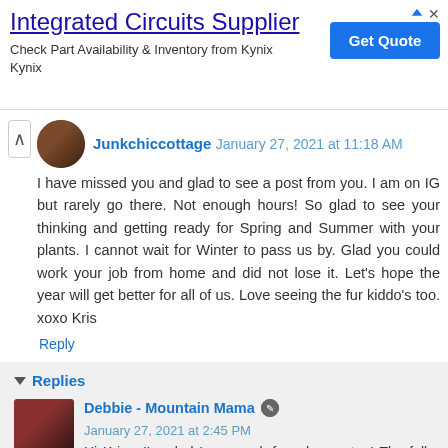[Figure (other): Advertisement banner for Integrated Circuits Supplier - Kynix]
Junkchiccottage January 27, 2021 at 11:18 AM
I have missed you and glad to see a post from you. I am on IG but rarely go there. Not enough hours! So glad to see your thinking and getting ready for Spring and Summer with your plants. I cannot wait for Winter to pass us by. Glad you could work your job from home and did not lose it. Let's hope the year will get better for all of us. Love seeing the fur kiddo's too. xoxo Kris
Reply
Replies
Debbie - Mountain Mama January 27, 2021 at 2:45 PM
Hi Kris - I'm glad I can work from home, too! The folks that are on the front line in the resort are